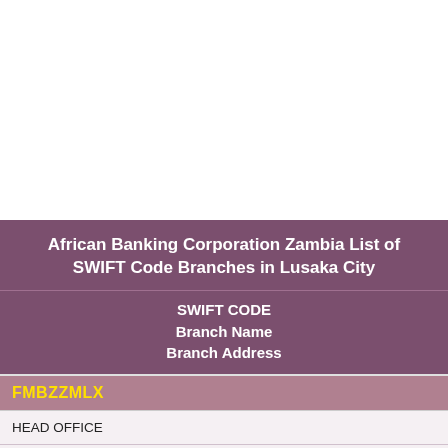African Banking Corporation Zambia List of SWIFT Code Branches in Lusaka City
| SWIFT CODE | Branch Name | Branch Address |
| --- | --- | --- |
| FMBZZMLX | HEAD OFFICE | NSCB BUILDING LUSAKA |
| FMBZZMLXXXX |  |  |